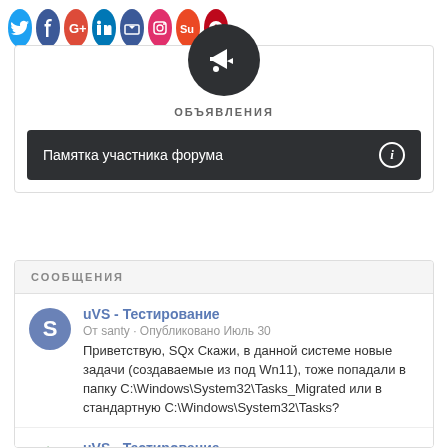[Figure (illustration): Row of social media icon circles: Twitter, Facebook, Google+, LinkedIn, Facebook (share), Instagram, StumbleUpon, Pinterest]
[Figure (illustration): Dark circular icon with megaphone/announcement symbol]
ОБЪЯВЛЕНИЯ
Памятка участника форума
СООБЩЕНИЯ
uVS - Тестирование
От santy · Опубликовано Июль 30
Приветствую, SQx Скажи, в данной системе новые задачи (создаваемые из под Wn11), тоже попадали в папку C:\Windows\System32\Tasks_Migrated или в стандартную C:\Windows\System32\Tasks?
uVS - Тестирование
От SQx · Опубликовано Июль 23
Здравствуйте,